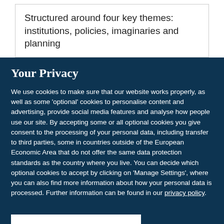Structured around four key themes: institutions, policies, imaginaries and planning
Your Privacy
We use cookies to make sure that our website works properly, as well as some 'optional' cookies to personalise content and advertising, provide social media features and analyse how people use our site. By accepting some or all optional cookies you give consent to the processing of your personal data, including transfer to third parties, some in countries outside of the European Economic Area that do not offer the same data protection standards as the country where you live. You can decide which optional cookies to accept by clicking on 'Manage Settings', where you can also find more information about how your personal data is processed. Further information can be found in our privacy policy.
Accept all cookies
Manage preferences